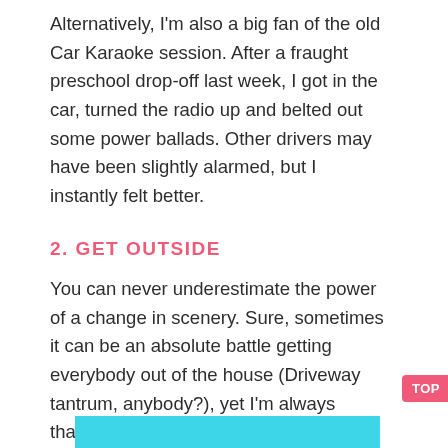Alternatively, I'm also a big fan of the old Car Karaoke session. After a fraught preschool drop-off last week, I got in the car, turned the radio up and belted out some power ballads. Other drivers may have been slightly alarmed, but I instantly felt better.
2. GET OUTSIDE
You can never underestimate the power of a change in scenery. Sure, sometimes it can be an absolute battle getting everybody out of the house (Driveway tantrum, anybody?), yet I'm always thankful for how a bit of fresh air and a hit of sunshine can really turn things around.
[Figure (photo): Partial image strip visible at bottom of page, showing a cyan/turquoise colored image]